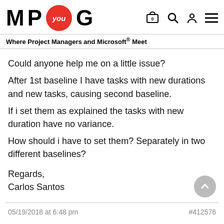M P you G — Where Project Managers and Microsoft® Meet
Could anyone help me on a little issue?

After 1st baseline I have tasks with new durations and new tasks, causing second baseline.

If i set them as explained the tasks with new duration have no variance.

How should i have to set them? Separately in two different baselines?

Regards,
Carlos Santos
05/19/2018 at 6:48 pm
#412576
Larry Christofaro